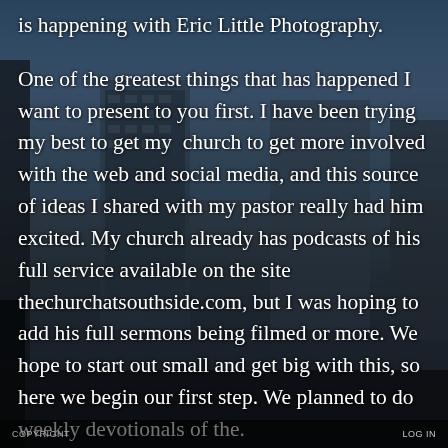[Figure (photo): Background photograph of urban buildings/skyline with blue sky, dark overlay, city architecture visible through semi-transparent text overlay]
is happening with Eric Little Photography.

One of the greatest things that has happened I want to present to you first. I have been trying my best to get my  church to get more involved with the web and social media, and this source of ideas I shared with my pastor really had him excited. My church already has podcasts of his full service available on the site thechurchatsouthside.com, but I was hoping to add his full sermons being filmed or more. We hope to start out small and get big with this, so here we begin our first step. We planned to do weekly devotionals of the.
COPYRIGHT     LOG IN